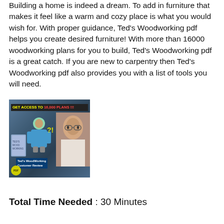Building a home is indeed a dream. To add in furniture that makes it feel like a warm and cozy place is what you would wish for. With proper guidance, Ted's Woodworking pdf helps you create desired furniture! With more than 16000 woodworking plans for you to build, Ted's Woodworking pdf is a great catch. If you are new to carpentry then Ted's Woodworking pdf also provides you with a list of tools you will need.
[Figure (photo): Promotional image for Ted's Woodworking with text 'GET ACCESS TO 16,000 PLANS !!!' in yellow and red on dark background, an illustrated figure of a person woodworking, a man's face on the right, 'Ted's WoodWorking Customer Review' label, and a yellow PDF badge in the bottom left corner.]
Total Time Needed : 30 Minutes